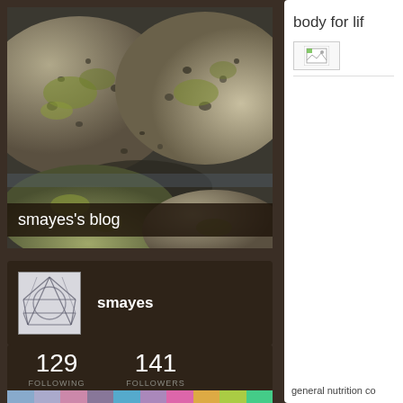[Figure (photo): Close-up photo of mossy granite rocks in water, used as blog header image]
smayes's blog
[Figure (photo): User avatar thumbnail showing geometric line art pattern (abstract diamond/triangle shapes)]
smayes
129 FOLLOWING
141 FOLLOWERS
[Figure (infographic): Row of colored category tag bars at bottom of left column]
body for lif
[Figure (photo): Broken/missing image placeholder icon in right sidebar]
general nutrition co